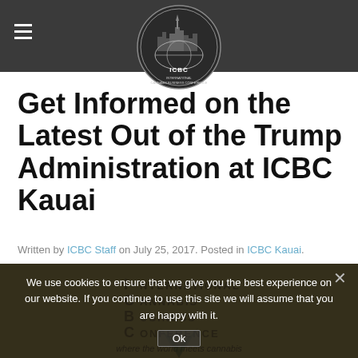ICBC — International Cannabis Business Conference
Get Informed on the Latest Out of the Trump Administration at ICBC Kauai
Written by ICBC Staff on July 25, 2017. Posted in ICBC Kauai.
[Figure (logo): ICBC International Cannabis Business Conference logo with city skyline and globe, overlaid on dark header bar]
[Figure (screenshot): Gold/olive colored banner image with ICBC International Cannabis Business Conference logo text reading 'where the world meets cannabis', with cookie consent overlay popup]